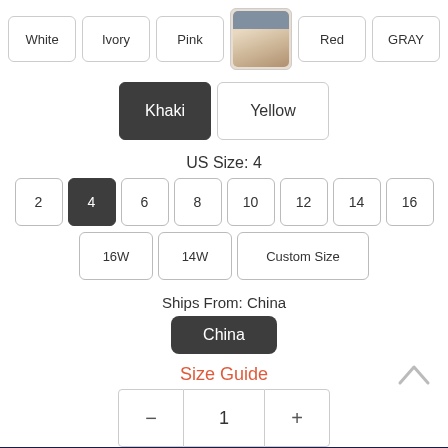Color options: White, Ivory, Pink, [image], Red, GRAY, Khaki (selected), Yellow
US Size: 4
Size options: 2, 4 (selected), 6, 8, 10, 12, 14, 16, 16W, 14W, Custom Size
Ships From: China
Ships From option: China (selected)
Size Guide
Quantity: 1